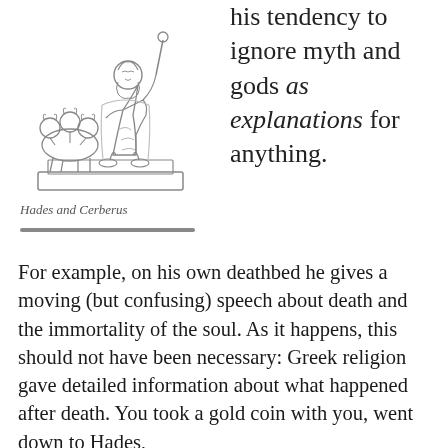[Figure (illustration): Line drawing illustration of Hades seated with Cerberus (three-headed dog) beside him, rendered in a classical engraving style.]
Hades and Cerberus
his tendency to ignore myth and gods as explanations for anything.
For example, on his own deathbed he gives a moving (but confusing) speech about death and the immortality of the soul. As it happens, this should not have been necessary: Greek religion gave detailed information about what happened after death. You took a gold coin with you, went down to Hades,